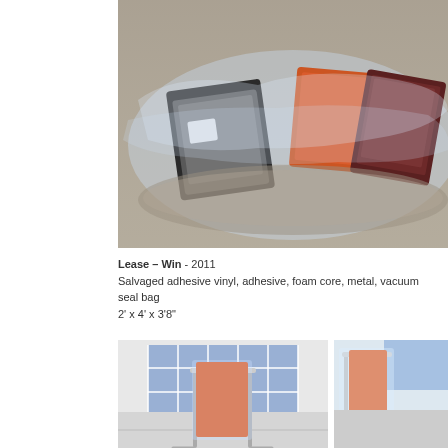[Figure (photo): Photo of vacuum-sealed clear plastic bags containing colorful printed materials (vinyl panels in black, silver, orange, brown) lying on a concrete floor.]
Lease – Win - 2011
Salvaged adhesive vinyl, adhesive, foam core, metal, vacuum seal bag
2' x 4' x 3'8"
[Figure (photo): Photo of a garment rack with an orange vinyl/plastic sheet draped over it, in a white-walled room with blue-lit grid windows in the background.]
[Figure (photo): Partial photo of a garment rack wrapped in clear plastic with an orange element visible, in a room with blue accents.]